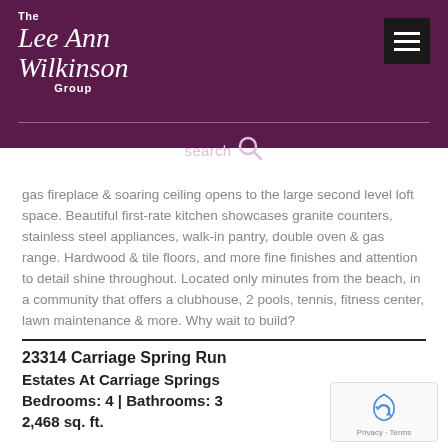The Lee Ann Wilkinson Group
gas fireplace & soaring ceiling opens to the large second level loft space. Beautiful first-rate kitchen showcases granite counters, stainless steel appliances, walk-in pantry, double oven & gas range. Hardwood & tile floors, and more fine finishes and attention to detail shine throughout. Located only minutes from the beach, in a community that offers a clubhouse, 2 pools, tennis, fitness center, lawn maintenance & more. Why wait to build?
23314 Carriage Spring Run
Estates At Carriage Springs
Bedrooms: 4 | Bathrooms: 3
2,468 sq. ft.